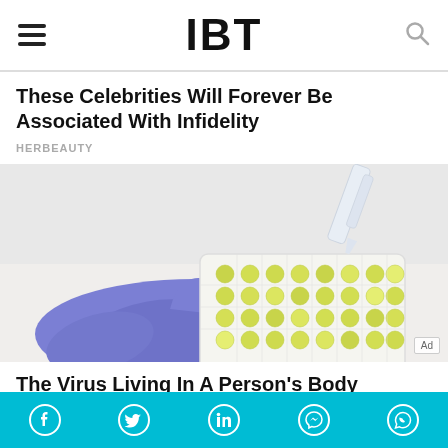IBT
These Celebrities Will Forever Be Associated With Infidelity
HERBEAUTY
[Figure (photo): Gloved hand (blue latex glove) holding a laboratory microplate/well plate with yellow-green samples, with a pipette visible in the upper right corner. White background. Ad badge in bottom right.]
The Virus Living In A Person's Body Mutated Gaining New Symptoms
[Figure (infographic): Social media share bar with icons: Facebook, Twitter, LinkedIn, Facebook Messenger, WhatsApp on a teal/cyan background]